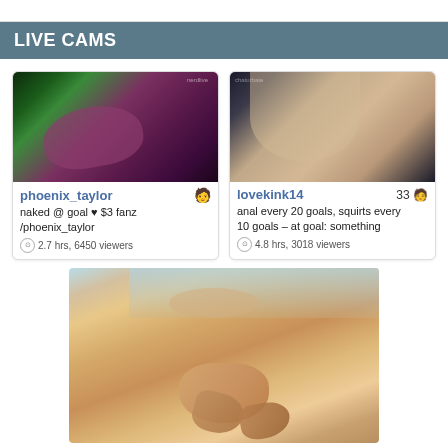LIVE CAMS
[Figure (photo): Cam thumbnail for phoenix_taylor showing dimly lit scene with purple/green lighting]
phoenix_taylor
naked @ goal ♥ $3 fanz /phoenix_taylor
2.7 hrs, 6450 viewers
[Figure (photo): Cam thumbnail for lovekink14 showing figure from behind]
lovekink14  33
anal every 20 goals, squirts every 10 goals – at goal: something
4.8 hrs, 3018 viewers
[Figure (photo): Large bottom photo showing close-up of person with blonde hair and hands]